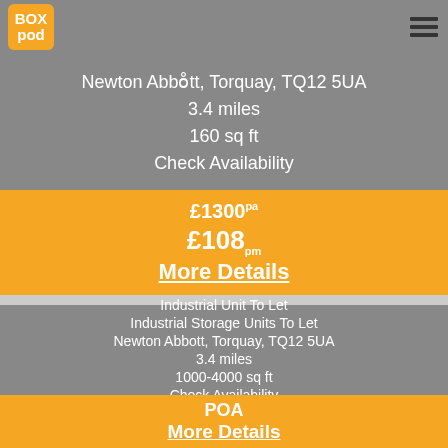[Figure (logo): BoxPod orange logo with white text]
Newton Abbott, Torquay, TQ12 5UA
3.4 miles
160 sq ft
Check Availability
£1300 pa
£108 pm
More Details
Industrial Unit To Let
Industrial Storage Units To Let
Newton Abbott, Torquay, TQ12 5UA
3.4 miles
1000-4000 sq ft
Check Availability
POA
More Details